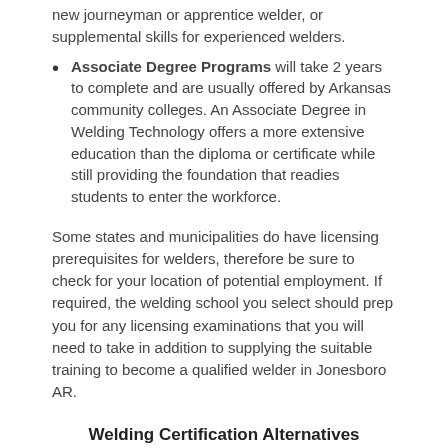new journeyman or apprentice welder, or supplemental skills for experienced welders.
Associate Degree Programs will take 2 years to complete and are usually offered by Arkansas community colleges. An Associate Degree in Welding Technology offers a more extensive education than the diploma or certificate while still providing the foundation that readies students to enter the workforce.
Some states and municipalities do have licensing prerequisites for welders, therefore be sure to check for your location of potential employment. If required, the welding school you select should prep you for any licensing examinations that you will need to take in addition to supplying the suitable training to become a qualified welder in Jonesboro AR.
Welding Certification Alternatives